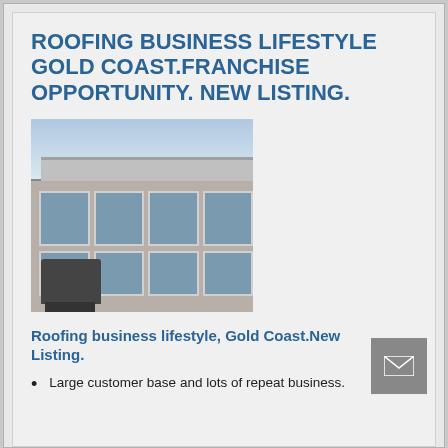ROOFING BUSINESS LIFESTYLE GOLD COAST.FRANCHISE OPPORTUNITY. NEW LISTING.
[Figure (photo): Exterior photo of a house with a flat/extended roof structure, large glass sliding windows/doors, and a BBQ grill in the foreground. Sky visible in the background.]
Roofing business lifestyle, Gold Coast.New Listing.
Large customer base and lots of repeat business.